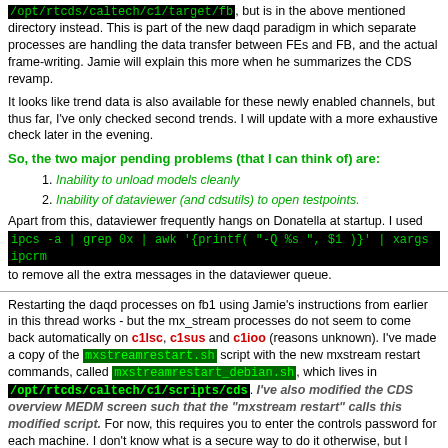/opt/rtcds/caltech/c1/target/fb, but is in the above mentioned directory instead. This is part of the new daqd paradigm in which separate processes are handling the data transfer between FEs and FB, and the actual frame-writing. Jamie will explain this more when he summarizes the CDS revamp.
It looks like trend data is also available for these newly enabled channels, but thus far, I've only checked second trends. I will update with a more exhaustive check later in the evening.
So, the two major pending problems (that I can think of) are:
Inability to unload models cleanly
Inability of dataviewer (and cdsutils) to open testpoints.
Apart from this, dataviewer frequently hangs on Donatella at startup. I used ipcs -a | grep 0x | awk '{printf( "-Q %s ", $1 )}' | xargs ipcrm to remove all the extra messages in the dataviewer queue.
Restarting the daqd processes on fb1 using Jamie's instructions from earlier in this thread works - but the mx_stream processes do not seem to come back automatically on c1lsc, c1sus and c1ioo (reasons unknown). I've made a copy of the mxstreamrestart.sh script with the new mxstream restart commands, called mxstreamrestart_debian.sh, which lives in /opt/rtcds/caltech/c1/scripts/cds. I've also modified the CDS overview MEDM screen such that the "mxstream restart" calls this modified script. For now, this requires you to enter the controls password for each machine. I don't know what is a secure way to do it otherwise, but I recall not having to do this in the past with the old mxstreamrestart.sh script.
ELOG V3.1.3-